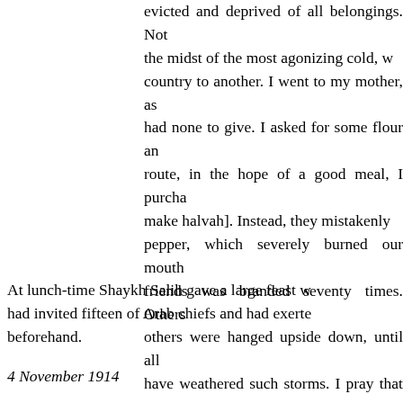evicted and deprived of all belongings. Not the midst of the most agonizing cold, w country to another. I went to my mother, as had none to give. I asked for some flour an route, in the hope of a good meal, I purcha make halvah]. Instead, they mistakenly pepper, which severely burned our mout friends was branded seventy times. Others others were hanged upside down, until all have weathered such storms. I pray that ev God will protect all. [137][9]
At lunch-time Shaykh Salih gave a large feast w had invited fifteen of Arab chiefs and had exerte beforehand.
4 November 1914